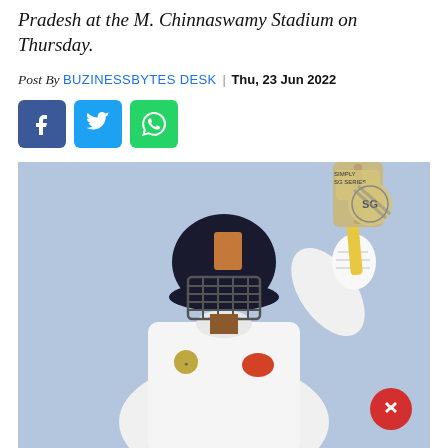Pradesh at the M. Chinnaswamy Stadium on Thursday.
Post By BUZINESSBYTES DESK | Thu, 23 Jun 2022
[Figure (other): Social media share buttons: Facebook (blue), Twitter (light blue), WhatsApp (green)]
[Figure (photo): Cricket batsman in white uniform and dark helmet raising bat with right hand, holding it aloft against a light blue sky background. The player wears batting gloves and the bat has a yellow handle.]